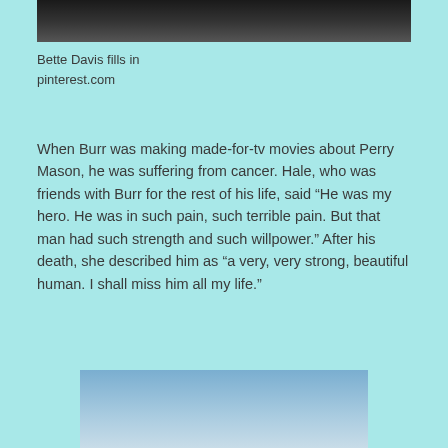[Figure (photo): Black and white photo, top portion of image showing a person]
Bette Davis fills in
pinterest.com
When Burr was making made-for-tv movies about Perry Mason, he was suffering from cancer. Hale, who was friends with Burr for the rest of his life, said “He was my hero. He was in such pain, such terrible pain. But that man had such strength and such willpower.” After his death, she described him as “a very, very strong, beautiful human. I shall miss him all my life.”
[Figure (photo): Blue sky photo, bottom portion visible]